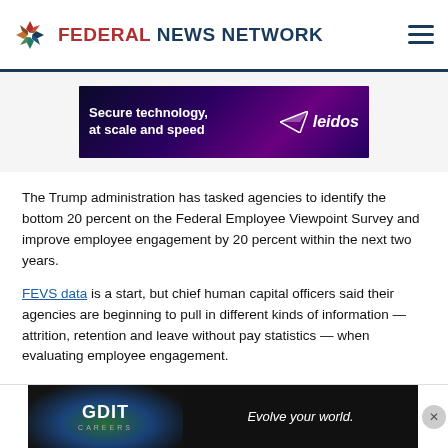FEDERAL NEWS NETWORK
[Figure (advertisement): Leidos advertisement banner: 'Secure technology, at scale and speed' with paper airplane icon and Leidos logo, dark purple background]
The Trump administration has tasked agencies to identify the bottom 20 percent on the Federal Employee Viewpoint Survey and improve employee engagement by 20 percent within the next two years.
FEVS data is a start, but chief human capital officers said their agencies are beginning to pull in different kinds of information — attrition, retention and leave without pay statistics — when evaluating employee engagement.
“We’r… feel like
[Figure (advertisement): GDIT Careers advertisement: colorful eye image on left, 'Evolve your world.' tagline on dark background, with X close button]